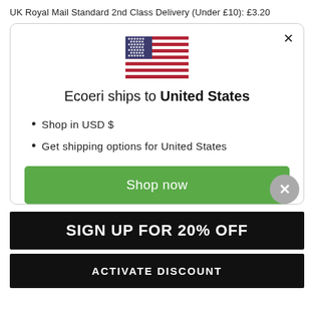UK Royal Mail Standard 2nd Class Delivery (Under £10): £3.20
[Figure (screenshot): Modal dialog showing US flag, 'Ecoeri ships to United States' heading, bullet points for USD and shipping options, and green 'Shop now' button with a grey X close button]
SIGN UP FOR 20% OFF
ACTIVATE DISCOUNT